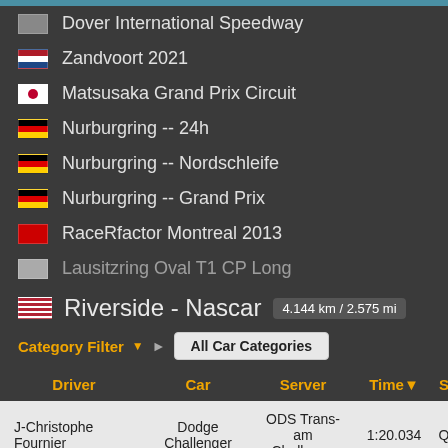Dover International Speedway
Zandvoort 2021
Matsusaka Grand Prix Circuit
Nurburgring -- 24h
Nurburgring -- Nordschleife
Nurburgring -- Grand Prix
RaceRfactor Montreal 2013
Lausitzring Oval T1 CP Long
Riverside - Nascar 4.144 km / 2.575 mi
Category Filter ▼ ▶ All Car Categories
| Driver | Car | Server | Time ▼ | S | Gap |
| --- | --- | --- | --- | --- | --- |
| J-Christophe Fournier | Dodge Challenger | ODS Trans-am Challenge | 1:20.034 | Q | - |
| Stig Bidstrup | Ford Mustang | ODS Trans-am | 1:20.310 |  | 0.27 |